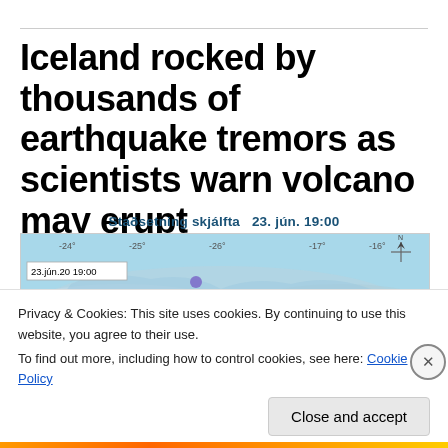Iceland rocked by thousands of earthquake tremors as scientists warn volcano may erupt
[Figure (map): Earthquake location map labeled 'Staðsetning skjálfta 23. jún. 19:00' showing Iceland region with colored dot markers indicating earthquake locations. Timestamp shows 23.jún.20 19:00. Blue topographic map background with compass rose in top right corner.]
Privacy & Cookies: This site uses cookies. By continuing to use this website, you agree to their use.
To find out more, including how to control cookies, see here: Cookie Policy